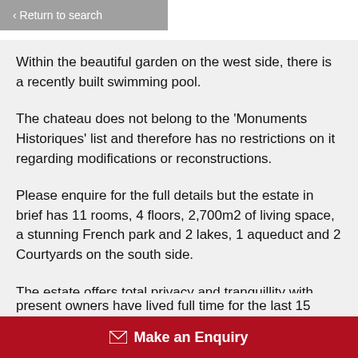< Return to search
Within the beautiful garden on the west side, there is a recently built swimming pool.
The chateau does not belong to the 'Monuments Historiques' list and therefore has no restrictions on it regarding modifications or reconstructions.
Please enquire for the full details but the estate in brief has 11 rooms, 4 floors, 2,700m2 of living space, a stunning French park and 2 lakes, 1 aqueduct and 2 Courtyards on the south side.
The estate offers total privacy and tranquillity with present owners have lived full time for the last 15
Make an Enquiry